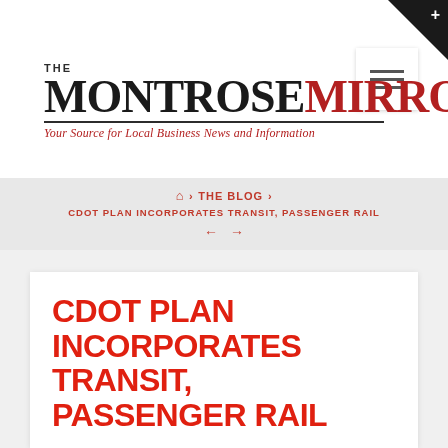[Figure (logo): The Montrose Mirror newspaper logo with tagline 'Your Source for Local Business News and Information']
🏠 › THE BLOG › CDOT PLAN INCORPORATES TRANSIT, PASSENGER RAIL
CDOT PLAN INCORPORATES TRANSIT, PASSENGER RAIL